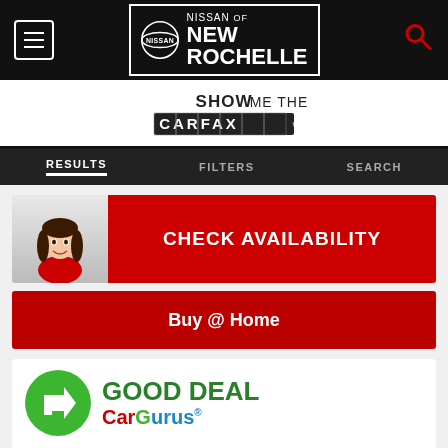Nissan of New Rochelle
[Figure (logo): SHOW ME THE CARFAX logo banner]
RESULTS   FILTERS   SEARCH
[Figure (infographic): CHECK AVAILABILITY button with avatar character]
Buy @ Home
[Figure (logo): GOOD DEAL CarGurus logo badge]
Used 2016 Nissan
Titan XD PRO-4X